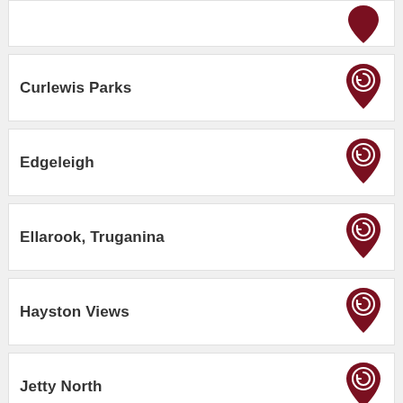Curlewis Parks
Edgeleigh
Ellarook, Truganina
Hayston Views
Jetty North
Octave